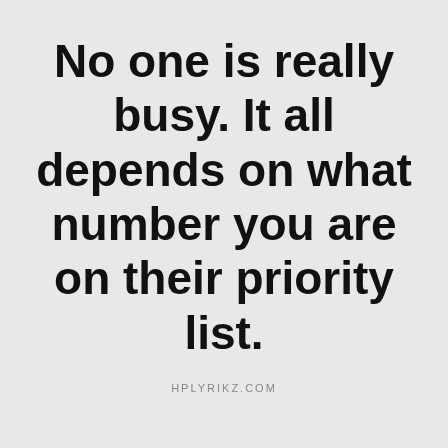No one is really busy. It all depends on what number you are on their priority list.
HPLYRIKZ.COM